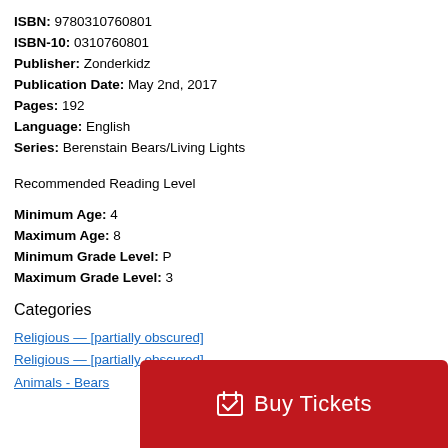ISBN: 9780310760801
ISBN-10: 0310760801
Publisher: Zonderkidz
Publication Date: May 2nd, 2017
Pages: 192
Language: English
Series: Berenstain Bears/Living Lights
Recommended Reading Level
Minimum Age: 4
Maximum Age: 8
Minimum Grade Level: P
Maximum Grade Level: 3
Categories
Religious — [partially obscured]
Religious — [partially obscured]
Animals - Bears